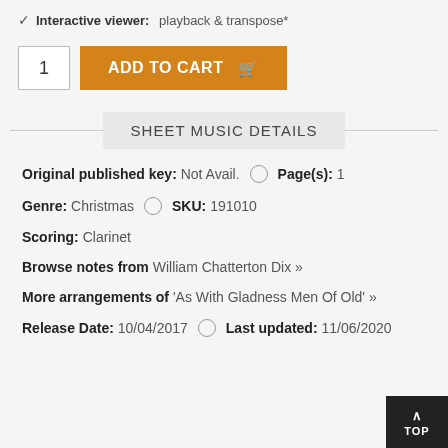Interactive viewer: playback & transpose*
1 | ADD TO CART
SHEET MUSIC DETAILS
Original published key: Not Avail. ○ Page(s): 1
Genre: Christmas ○ SKU: 191010
Scoring: Clarinet
Browse notes from William Chatterton Dix »
More arrangements of 'As With Gladness Men Of Old' »
Release Date: 10/04/2017 ○ Last updated: 11/06/2020